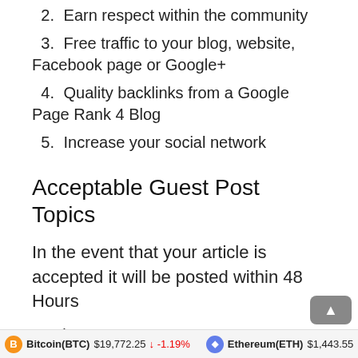2. Earn respect within the community
3. Free traffic to your blog, website, Facebook page or Google+
4. Quality backlinks from a Google Page Rank 4 Blog
5. Increase your social network
Acceptable Guest Post Topics
In the event that your article is accepted it will be posted within 48 Hours
Finance
Broker
Promotion
Social Media
Credit
Bitcoin(BTC) $19,772.25 ↓ -1.19%   Ethereum(ETH) $1,443.55